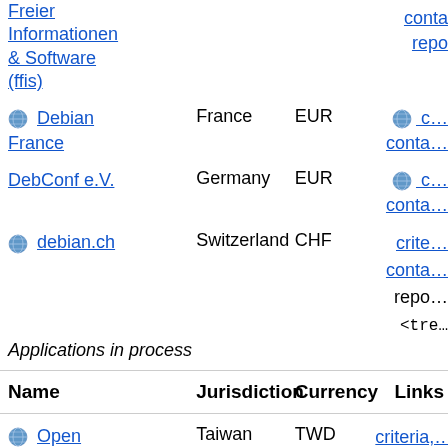| Name | Jurisdiction | Currency | Links |
| --- | --- | --- | --- |
| Freier Informationen & Software (ffis) |  |  | conta…
repo… |
| 🌐 Debian France | France | EUR | 🌐 c…
conta… |
| DebConf e.V. | Germany | EUR | 🌐 c…
conta… |
| 🌐 debian.ch | Switzerland | CHF | crite…
conta…
repo…
<tre… |
Applications in process
| Name | Jurisdiction | Currency | Links |
| --- | --- | --- | --- |
| 🌐 Open Culture | Taiwan | TWD | criteria,…
🌐 |